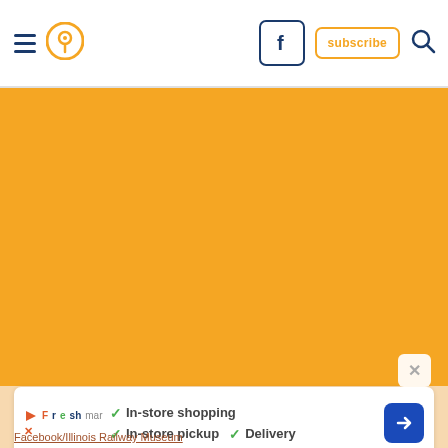Navigation bar with hamburger menu, location pin icon, Facebook button, subscribe button, search icon
[Figure (screenshot): Large orange/amber colored area representing a map or placeholder image area]
[Figure (infographic): Advertisement banner: In-store shopping, In-store pickup, Delivery checkmarks with navigation arrow icon]
Facebook/Illinois Railway Museum